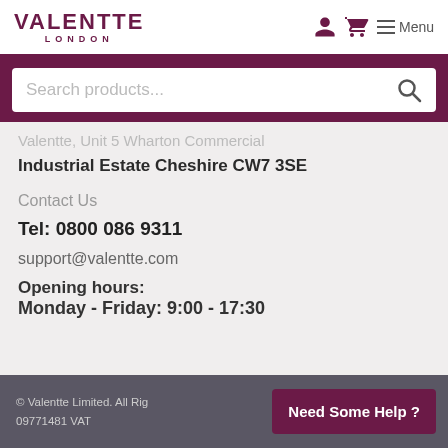VALENTTE LONDON — Menu (with user and cart icons)
[Figure (screenshot): Search products... search bar with magnifying glass icon on dark purple background]
Industrial Estate Cheshire CW7 3SE
Contact Us
Tel: 0800 086 9311
support@valentte.com
Opening hours:
Monday - Friday: 9:00 - 17:30
© Valentte Limited. All Rights Reserved. Company Number 09771481 VAT...   Need Some Help ?